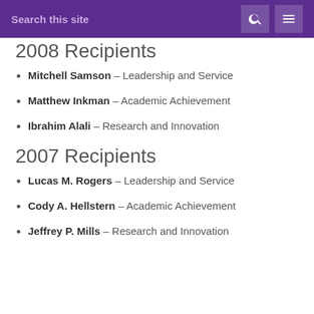Search this site
2008 Recipients
Mitchell Samson - Leadership and Service
Matthew Inkman - Academic Achievement
Ibrahim Alali - Research and Innovation
2007 Recipients
Lucas M. Rogers - Leadership and Service
Cody A. Hellstern - Academic Achievement
Jeffrey P. Mills - Research and Innovation